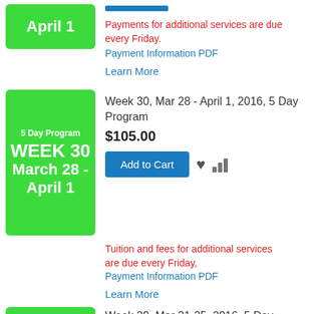[Figure (other): Green rounded box with white text 'April 1' (top of page, partially cut off)]
Payments for additional services are due every Friday.
Payment Information PDF
Learn More
[Figure (other): Green rounded box with white text: '5 Day Program', 'WEEK 30', 'March 28 - April 1']
Week 30, Mar 28 - April 1, 2016, 5 Day Program
$105.00
Add to Cart
Tuition and fees for additional services are due every Friday,
Payment Information PDF
Learn More
[Figure (other): Green rounded box partially visible at bottom with white text '5 Day Program']
Week 29, Mar 21-25, 2016, 5 Day Program Tuition